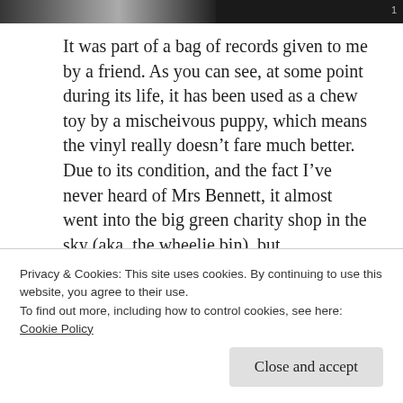[Figure (photo): Dark horizontal photo strip at the top of the page showing a partial image, dark background with a light colored object visible.]
It was part of a bag of records given to me by a friend. As you can see, at some point during its life, it has been used as a chew toy by a mischeivous puppy, which means the vinyl really doesn’t fare much better. Due to its condition, and the fact I’ve never heard of Mrs Bennett, it almost went into the big green charity shop in the sky (aka, the wheelie bin), but something’s made me keep hold of it. There’s a mystery surrounding it. I can’t find anything about her. At all. A few places have this record for sale on the internets (no. I’m not on the
Privacy & Cookies: This site uses cookies. By continuing to use this website, you agree to their use.
To find out more, including how to control cookies, see here: Cookie Policy
Close and accept